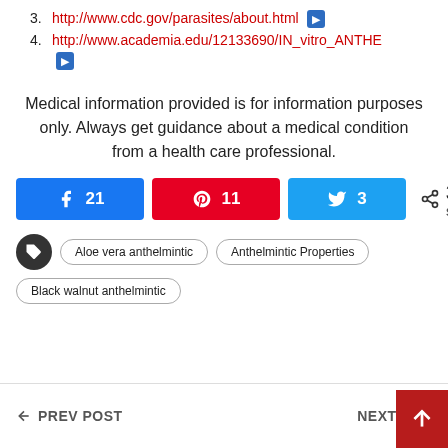3. http://www.cdc.gov/parasites/about.html [arrow]
4. http://www.academia.edu/12133690/IN_vitro_ANTHE... [arrow]
Medical information provided is for information purposes only. Always get guidance about a medical condition from a health care professional.
[Figure (infographic): Social share buttons: Facebook 21, Pinterest 11, Twitter 3; Total 35 SHARES]
Aloe vera anthelmintic  Anthelmintic Properties  Black walnut anthelmintic
← PREV POST   NEXT POST